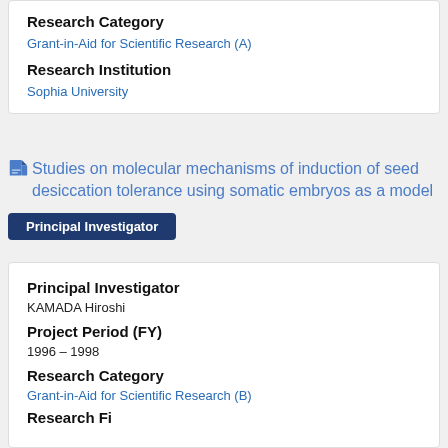Research Category
Grant-in-Aid for Scientific Research (A)
Research Institution
Sophia University
Studies on molecular mechanisms of induction of seed desiccation tolerance using somatic embryos as a model
Principal Investigator
Principal Investigator
KAMADA Hiroshi
Project Period (FY)
1996 – 1998
Research Category
Grant-in-Aid for Scientific Research (B)
Research Field